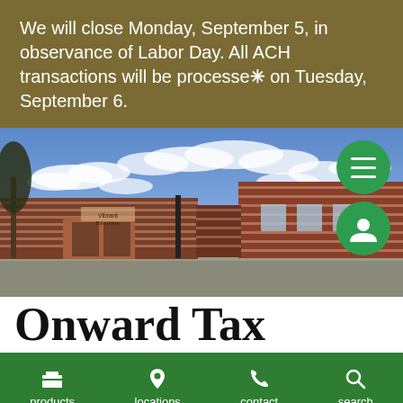We will close Monday, September 5, in observance of Labor Day. All ACH transactions will be processed on Tuesday, September 6.
[Figure (photo): Exterior photo of a brick bank building (Vibrant Bancshares Inc.) with a dramatic blue sky and scattered clouds, parking lot in foreground. Two green circular UI buttons overlay the top right: a hamburger menu button and a user/account button.]
Onward Tax
products  locations  contact  search